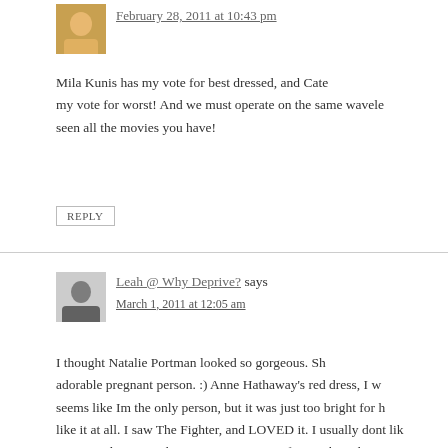February 28, 2011 at 10:43 pm
Mila Kunis has my vote for best dressed, and Cate my vote for worst! And we must operate on the same wavele seen all the movies you have!
REPLY
Leah @ Why Deprive? says
March 1, 2011 at 12:05 am
I thought Natalie Portman looked so gorgeous. Sh adorable pregnant person. :) Anne Hathaway's red dress, I w seems like Im the only person, but it was just too bright for h like it at all. I saw The Fighter, and LOVED it. I usually dont lik nominated movies, they're just too intense for me, but The F amazing. I do want to see The Kids Are Alright though, that m fantastic.